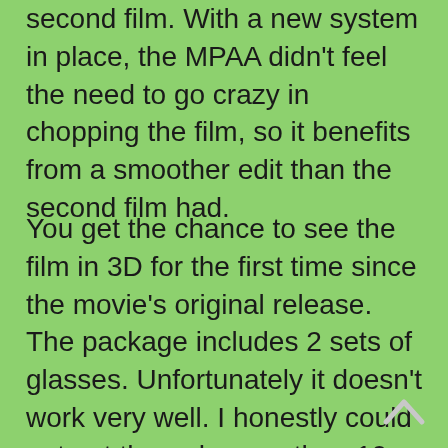second film. With a new system in place, the MPAA didn't feel the need to go crazy in chopping the film, so it benefits from a smoother edit than the second film had.
You get the chance to see the film in 3D for the first time since the movie's original release. The package includes 2 sets of glasses. Unfortunately it doesn't work very well. I honestly could not get through more than 10 or 15 minutes before the eye strain kicked in. I was hoping for one of those switchable presentations like